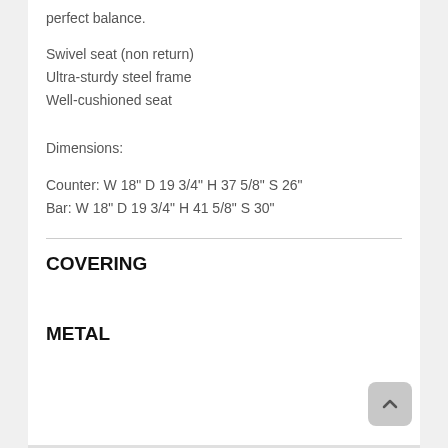perfect balance.
Swivel seat (non return)
Ultra-sturdy steel frame
Well-cushioned seat
Dimensions:
Counter: W 18" D 19 3/4" H 37 5/8" S 26"
Bar: W 18" D 19 3/4" H 41 5/8" S 30"
COVERING
METAL